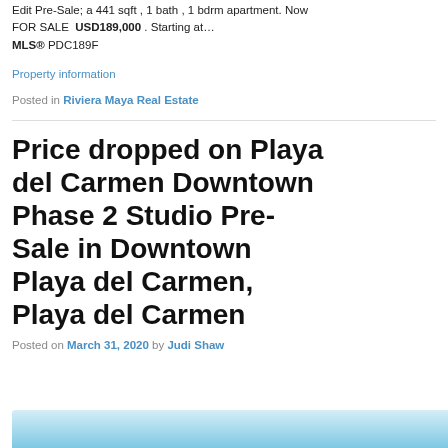Edit Pre-Sale; a 441 sqft , 1 bath , 1 bdrm apartment. Now FOR SALE  USD189,000 . Starting at… MLS® PDC189F
Property information
Posted in Riviera Maya Real Estate
Price dropped on Playa del Carmen Downtown Phase 2 Studio Pre-Sale in Downtown Playa del Carmen, Playa del Carmen
Posted on March 31, 2020 by Judi Shaw
[Figure (photo): Partial view of a coastal/ocean scene with blue water and sky]